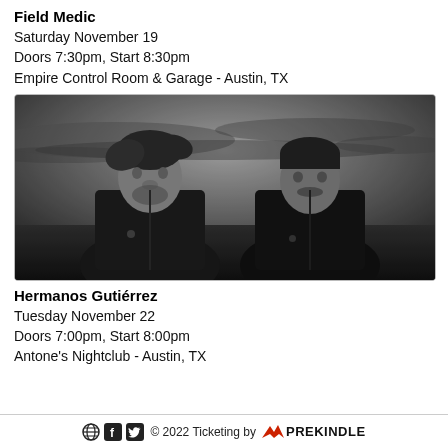Field Medic
Saturday November 19
Doors 7:30pm, Start 8:30pm
Empire Control Room & Garage - Austin, TX
[Figure (photo): Black and white photo of two men with dark hair wearing leather jackets, standing against a dramatic sky background. The man on the left has longer wind-blown hair and a beard; the man on the right has shorter hair and a mustache.]
Hermanos Gutiérrez
Tuesday November 22
Doors 7:00pm, Start 8:00pm
Antone's Nightclub - Austin, TX
© 2022 Ticketing by PREKINDLE